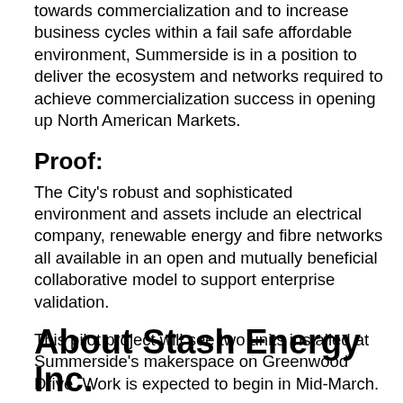towards commercialization and to increase business cycles within a fail safe affordable environment, Summerside is in a position to deliver the ecosystem and networks required to achieve commercialization success in opening up North American Markets.
Proof:
The City's robust and sophisticated environment and assets include an electrical company, renewable energy and fibre networks all available in an open and mutually beneficial collaborative model to support enterprise validation.
This pilot project will see two units installed at Summerside's makerspace on Greenwood Drive. Work is expected to begin in Mid-March.
About Stash Energy Inc.